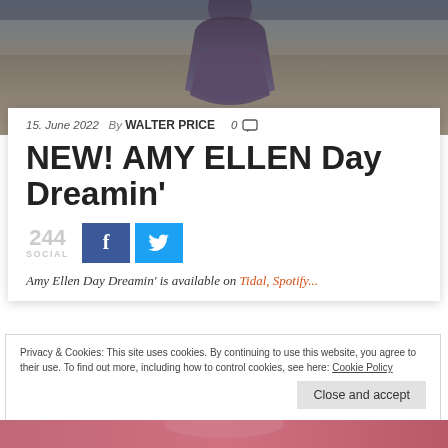[Figure (photo): A person in a purple/dark outfit standing against a stone wall/balustrade, outdoor setting with muted warm tones in background.]
15. June 2022  By WALTER PRICE  0
NEW! AMY ELLEN Day Dreamin'
244 SOCIAL
Amy Ellen Day Dreamin' is available on Tidal, Spotify...
Privacy & Cookies: This site uses cookies. By continuing to use this website, you agree to their use. To find out more, including how to control cookies, see here: Cookie Policy
Close and accept
[Figure (photo): Bottom portion of a photo showing a person, warm pink/red tones.]